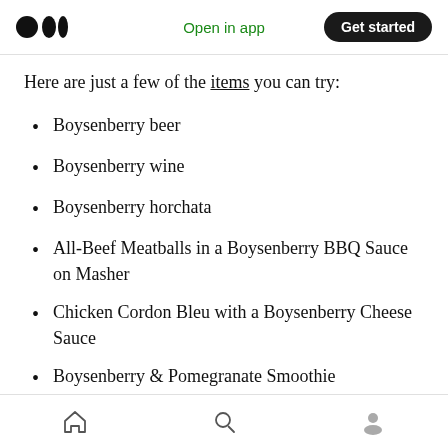Open in app | Get started
Here are just a few of the items you can try:
Boysenberry beer
Boysenberry wine
Boysenberry horchata
All-Beef Meatballs in a Boysenberry BBQ Sauce on Masher
Chicken Cordon Bleu with a Boysenberry Cheese Sauce
Boysenberry & Pomegranate Smoothie
Home | Search | Profile